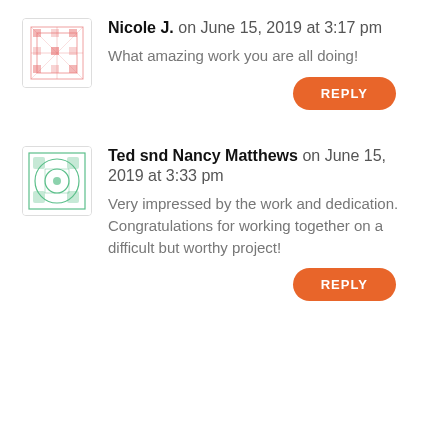Nicole J. on June 15, 2019 at 3:17 pm
What amazing work you are all doing!
REPLY
Ted snd Nancy Matthews on June 15, 2019 at 3:33 pm
Very impressed by the work and dedication. Congratulations for working together on a difficult but worthy project!
REPLY